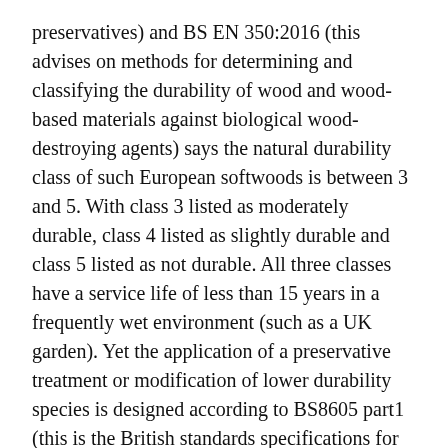preservatives) and BS EN 350:2016 (this advises on methods for determining and classifying the durability of wood and wood-based materials against biological wood-destroying agents) says the natural durability class of such European softwoods is between 3 and 5. With class 3 listed as moderately durable, class 4 listed as slightly durable and class 5 listed as not durable. All three classes have a service life of less than 15 years in a frequently wet environment (such as a UK garden). Yet the application of a preservative treatment or modification of lower durability species is designed according to BS8605 part1 (this is the British standards specifications for external timber cladding) to extend service life to 15/30 years or more.
Having a wooden garden structure supplied as untreated is relatively rare. The vast majority of wooden buildings are supplied with some form of basic treatment, usually a